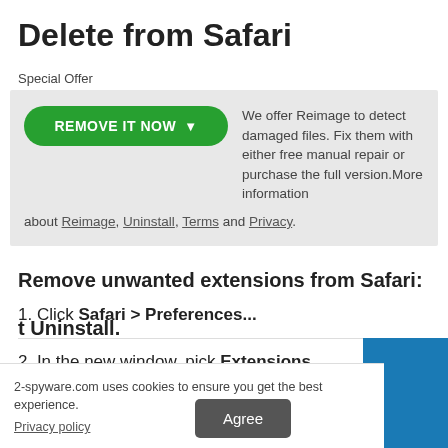Delete from Safari
Special Offer
REMOVE IT NOW ▼  We offer Reimage to detect damaged files. Fix them with either free manual repair or purchase the full version.More information about Reimage, Uninstall, Terms and Privacy.
Remove unwanted extensions from Safari:
1. Click Safari > Preferences...
2. In the new window, pick Extensions.
2-spyware.com uses cookies to ensure you get the best experience.
Privacy policy
Agree